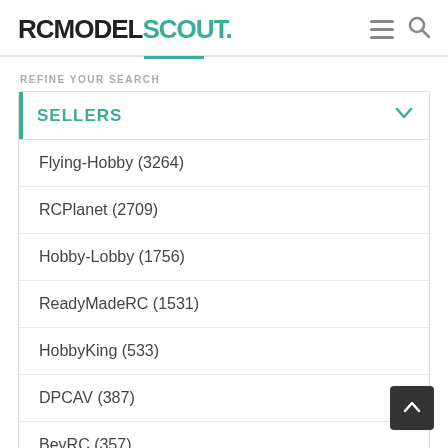RCMODELSCOUT.
REFINE YOUR SEARCH
SELLERS
Flying-Hobby (3264)
RCPlanet (2709)
Hobby-Lobby (1756)
ReadyMadeRC (1531)
HobbyKing (533)
DPCAV (387)
BevRC (357)
GetFPV (215)